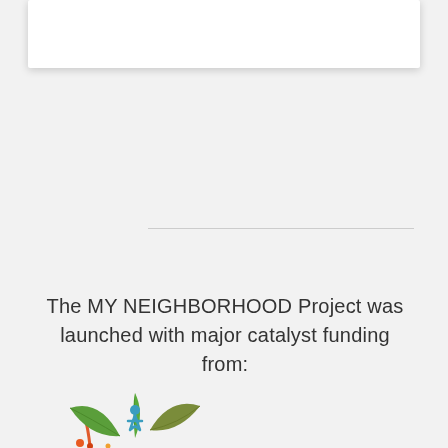[Figure (other): White card/panel at top of page, partially visible, with drop shadow]
The MY NEIGHBORHOOD Project was launched with major catalyst funding from:
[Figure (logo): Partial logo visible at bottom left — green leaves with a person figure and colorful accents, appears to be a community/neighborhood organization logo]